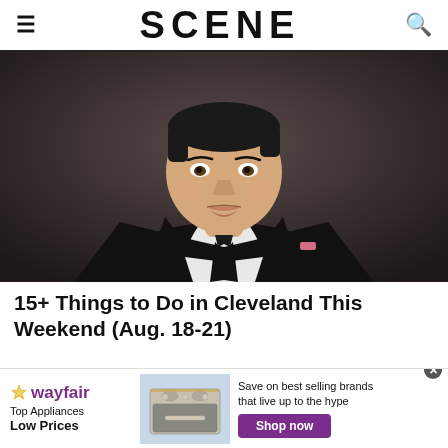SCENE
[Figure (photo): Man in black suit and tie with white dress shirt, smiling awkwardly, against a dark gray background. Professional headshot style photo.]
15+ Things to Do in Cleveland This Weekend (Aug. 18-21)
[Figure (infographic): Wayfair advertisement banner: 'Top Appliances Low Prices' with image of a stainless steel range/oven and text 'Save on best selling brands that live up to the hype' with 'Shop now' button.]